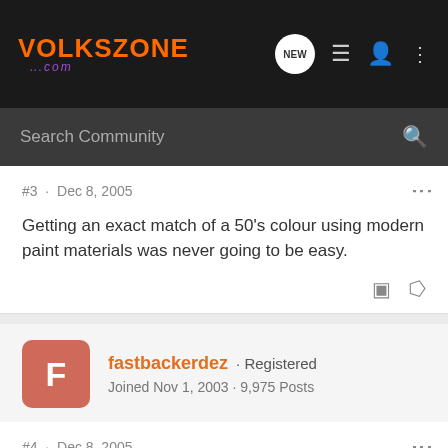[Figure (logo): Volkszone.com logo with orange text and purple underline]
Search Community
#3 · Dec 8, 2005
Getting an exact match of a 50's colour using modern paint materials was never going to be easy.
fastbackerdez · Registered
Joined Nov 1, 2003 · 9,975 Posts
#4 · Dec 8, 2005